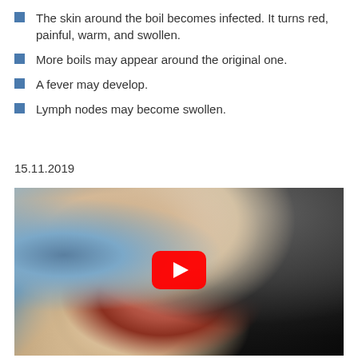The skin around the boil becomes infected. It turns red, painful, warm, and swollen.
More boils may appear around the original one.
A fever may develop.
Lymph nodes may become swollen.
15.11.2019
[Figure (photo): A medical video thumbnail showing a close-up of a boil being treated, with a YouTube play button overlay. The image shows gloved hands treating a skin boil on a patient's neck/head area.]